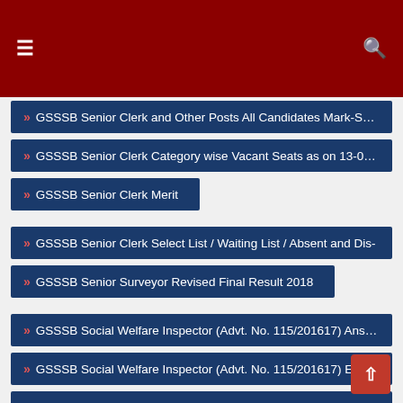Menu / Search header bar
» GSSSB Senior Clerk and Other Posts All Candidates Mark-Sheet
» GSSSB Senior Clerk Category wise Vacant Seats as on 13-03-2018
» GSSSB Senior Clerk Merit
» GSSSB Senior Clerk Select List / Waiting List / Absent and Dis-
» GSSSB Senior Surveyor Revised Final Result 2018
» GSSSB Social Welfare Inspector (Advt. No. 115/201617) Answer
» GSSSB Social Welfare Inspector (Advt. No. 115/201617) Exam
» GSSSB Social Welfare Inspector (Advt. No. 115/201617) Final
» GSSSB Social Welfare Inspector (Advt. No. 115/201617) Revised
» GSSSB Social Welfare Inspector amp; Assistant Social Welfare
» GSSSB Social Welfare Inspector amp; Assistant Social Welfare
» GSSSB Social Welfare Inspector amp; Assistant Social Welfare